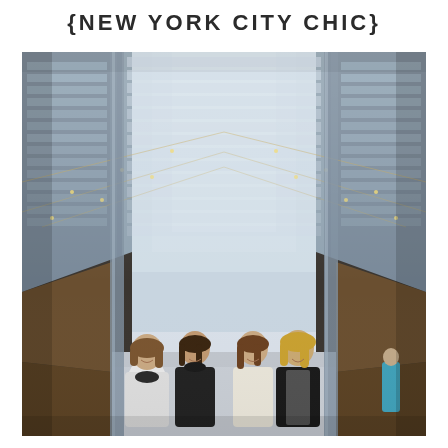{NEW YORK CITY CHIC}
[Figure (photo): Four young women standing together in a mirrored urban corridor with glass buildings and string lights, reflected symmetrically. The women are dressed in black and white outfits. The setting appears to be a stylish city shopping or pedestrian area.]